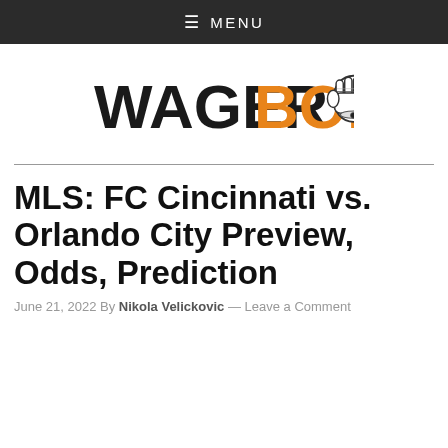≡ MENU
[Figure (logo): WagerBop logo: bold black text WAGER followed by orange BOP text with a fist illustration to the right]
MLS: FC Cincinnati vs. Orlando City Preview, Odds, Prediction
June 21, 2022 By Nikola Velickovic — Leave a Comment